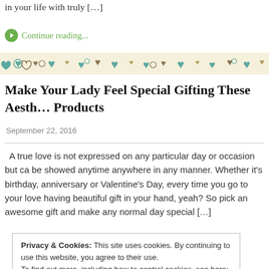in your life with truly […]
Continue reading...
[Figure (illustration): Decorative banner with hearts and doodle patterns in teal, brown, and cream colors]
Make Your Lady Feel Special Gifting These Aesth… Products
September 22, 2016
A true love is not expressed on any particular day or occasion but ca be showed anytime anywhere in any manner. Whether it's birthday, anniversary or Valentine's Day, every time you go to your love having beautiful gift in your hand, yeah? So pick an awesome gift and make any normal day special […]
Privacy & Cookies: This site uses cookies. By continuing to use this website, you agree to their use.
To find out more, including how to control cookies, see here: Cookie Policy
Close and accept
December 30, 2015